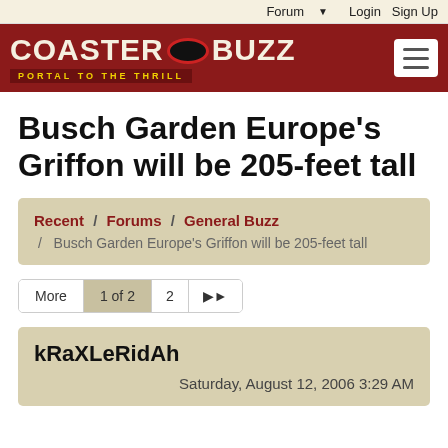Forum  Login  Sign Up
[Figure (logo): CoasterBuzz - Portal to the Thrill logo with dark red background, white text, and red/black oval emblem]
Busch Garden Europe's Griffon will be 205-feet tall
Recent / Forums / General Buzz / Busch Garden Europe's Griffon will be 205-feet tall
More  1 of 2  2  ▶|
kRaXLeRidAh
Saturday, August 12, 2006 3:29 AM